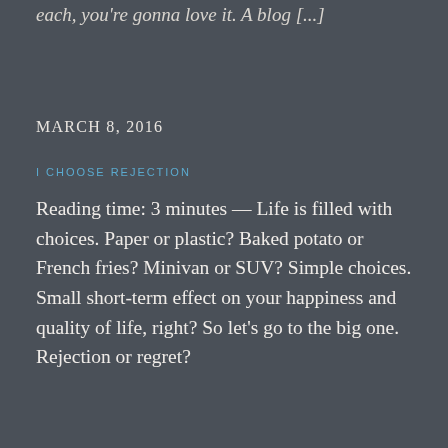each, you're gonna love it. A blog [...]
MARCH 8, 2016
I CHOOSE REJECTION
Reading time: 3 minutes — Life is filled with choices. Paper or plastic? Baked potato or French fries? Minivan or SUV? Simple choices. Small short-term effect on your happiness and quality of life, right? So let's go to the big one. Rejection or regret?